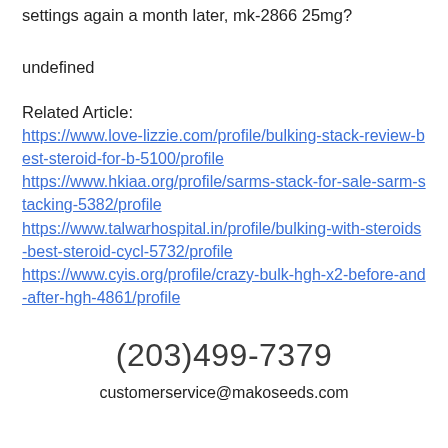settings again a month later, mk-2866 25mg?
undefined
Related Article:
https://www.love-lizzie.com/profile/bulking-stack-review-best-steroid-for-b-5100/profile https://www.hkiaa.org/profile/sarms-stack-for-sale-sarm-stacking-5382/profile https://www.talwarhospital.in/profile/bulking-with-steroids-best-steroid-cycl-5732/profile https://www.cyis.org/profile/crazy-bulk-hgh-x2-before-and-after-hgh-4861/profile
(203)499-7379
customerservice@makoseeds.com